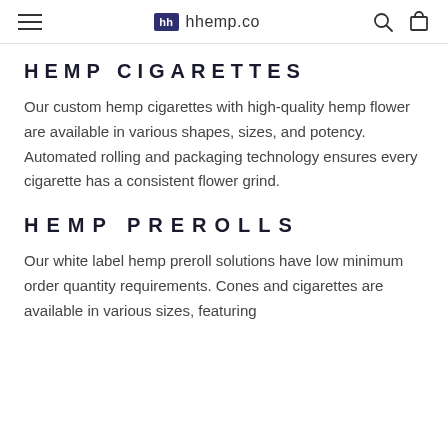hh hhemp.co
HEMP CIGARETTES
Our custom hemp cigarettes with high-quality hemp flower are available in various shapes, sizes, and potency. Automated rolling and packaging technology ensures every cigarette has a consistent flower grind.
HEMP PREROLLS
Our white label hemp preroll solutions have low minimum order quantity requirements. Cones and cigarettes are available in various sizes, featuring